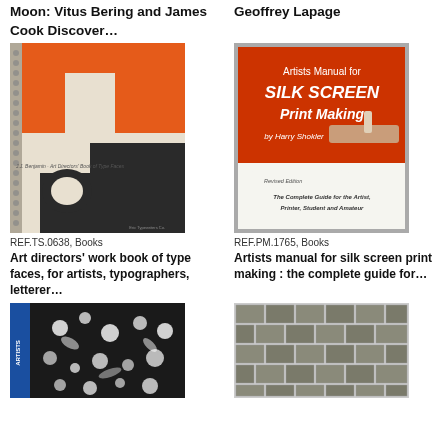Moon: Vitus Bering and James Cook Discover…
Geoffrey Lapage
[Figure (photo): Spiral-bound book cover with orange and black typographic design, titled 'Art directors' Book of Type Faces']
REF.TS.0638, Books
Art directors' work book of type faces, for artists, typographers, letterer…
[Figure (photo): Book cover: Artists Manual for SILK SCREEN Print Making by Harry Shokler, revised edition, orange and white cover]
REF.PM.1765, Books
Artists manual for silk screen print making : the complete guide for…
[Figure (photo): Book cover with black and white pattern, blue spine]
[Figure (photo): Book cover with stone/brick texture in black and white]